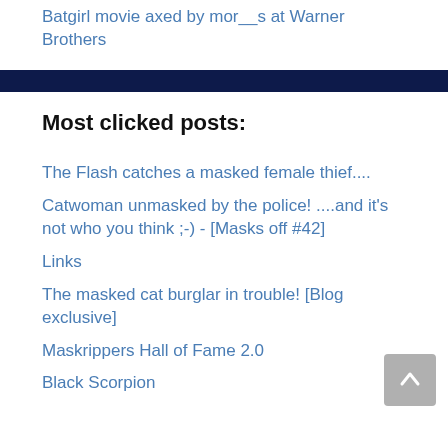Batgirl movie axed by mor__s at Warner Brothers
Most clicked posts:
The Flash catches a masked female thief....
Catwoman unmasked by the police! ....and it's not who you think ;-) - [Masks off #42]
Links
The masked cat burglar in trouble! [Blog exclusive]
Maskrip­pers Hall of Fame 2.0
Black Scorpion